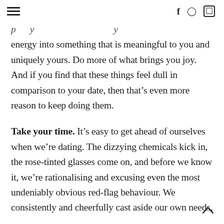[hamburger menu] [f] [pinterest] [instagram]
…energy into something that is meaningful to you and uniquely yours. Do more of what brings you joy. And if you find that these things feel dull in comparison to your date, then that's even more reason to keep doing them.
Take your time. It's easy to get ahead of ourselves when we're dating. The dizzying chemicals kick in, the rose-tinted glasses come on, and before we know it, we're rationalising and excusing even the most undeniably obvious red-flag behaviour. We consistently and cheerfully cast aside our own needs,